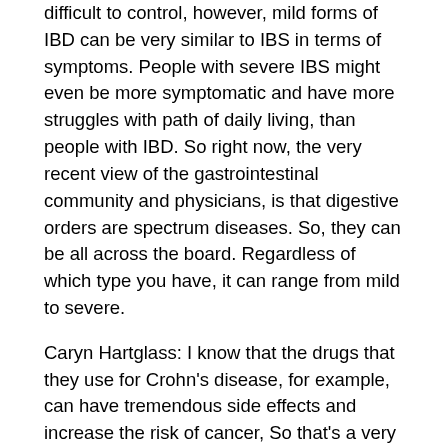difficult to control, however, mild forms of IBD can be very similar to IBS in terms of symptoms. People with severe IBS might even be more symptomatic and have more struggles with path of daily living, than people with IBD. So right now, the very recent view of the gastrointestinal community and physicians, is that digestive orders are spectrum diseases. So, they can be all across the board. Regardless of which type you have, it can range from mild to severe.
Caryn Hartglass: I know that the drugs that they use for Crohn's disease, for example, can have tremendous side effects and increase the risk of cancer, So that's a very scary road to go down.
Jo Stepaniak: There really has been no good solution and no headway into finding causes of IBD in the last fifty or more years. And the only solution, which are pretty typical of the conventional medical community has been new drugs. There has been really no ways to control, manage, and figure out the cause of inflammatory bowel disease. There has actually been a little more progress with IBS than there has been with IBD in the very recent